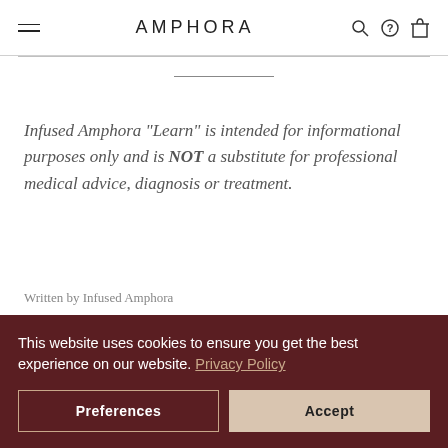AMPHORA
Infused Amphora “Learn” is intended for informational purposes only and is NOT a substitute for professional medical advice, diagnosis or treatment.
Written by Infused Amphora
This website uses cookies to ensure you get the best experience on our website. Privacy Policy
Preferences
Accept